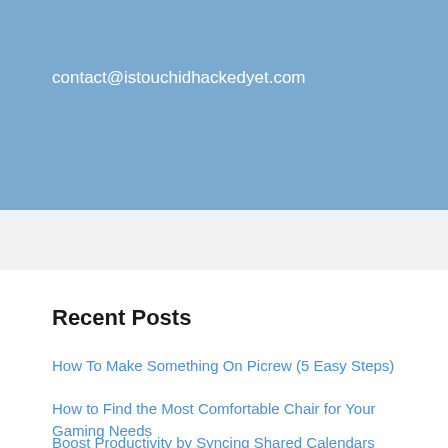contact@istouchidhackedyet.com
Recent Posts
How To Make Something On Picrew (5 Easy Steps)
How to Find the Most Comfortable Chair for Your Gaming Needs
Boost Productivity by Syncing Shared Calendars